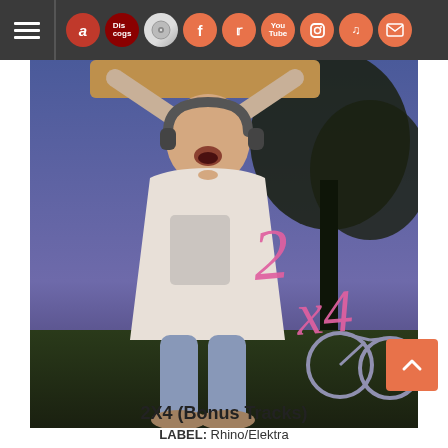Navigation bar with hamburger menu and social/store icons
[Figure (photo): Album cover for 2X4 (Bonus Tracks) showing a boy wearing headphones holding a 2x4 plank above his head, with pink handwritten '2 x4' text, a bicycle in background, purple/blue dusk sky]
2X4 (Bonus Tracks)
LABEL: Rhino/Elektra